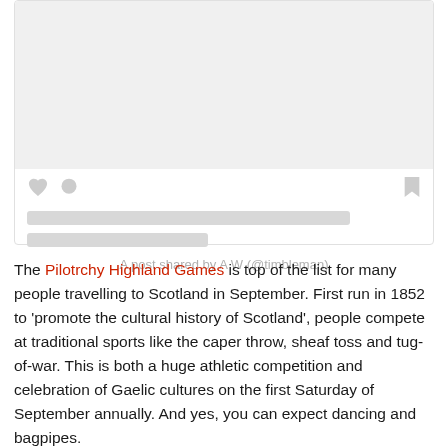[Figure (screenshot): A social media post card with a light gray image placeholder area, heart and comment icons, bookmark icon, two skeleton loading bars for text, and the attribution 'A post shared by A W (@timbleman)' centered at the bottom.]
The Pilotrchy Highland Games is top of the list for many people travelling to Scotland in September. First run in 1852 to 'promote the cultural history of Scotland', people compete at traditional sports like the caper throw, sheaf toss and tug-of-war. This is both a huge athletic competition and celebration of Gaelic cultures on the first Saturday of September annually. And yes, you can expect dancing and bagpipes.